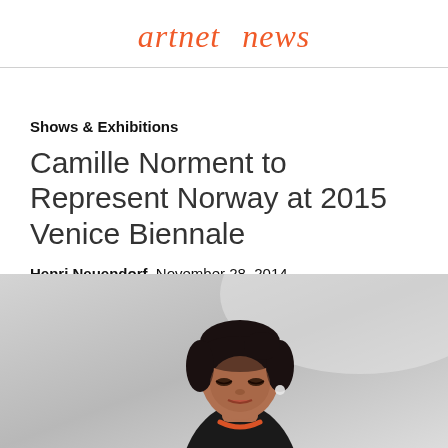artnet  news
Shows & Exhibitions
Camille Norment to Represent Norway at 2015 Venice Biennale
Henri Neuendorf, November 28, 2014
[Figure (photo): Portrait photo of Camille Norment, a woman with dark hair pulled back, looking downward, wearing a dark outfit with an orange necklace, against a light grey gradient background.]